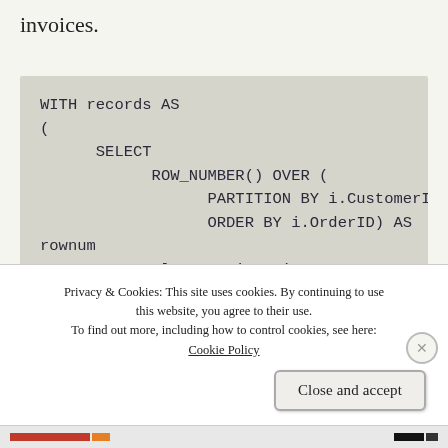invoices.
[Figure (screenshot): Code block showing SQL query: WITH records AS ( SELECT ROW_NUMBER() OVER ( PARTITION BY i.CustomerID ORDER BY i.OrderID) AS rownum FROM Sales.Invoices i]
Privacy & Cookies: This site uses cookies. By continuing to use this website, you agree to their use. To find out more, including how to control cookies, see here: Cookie Policy
Close and accept